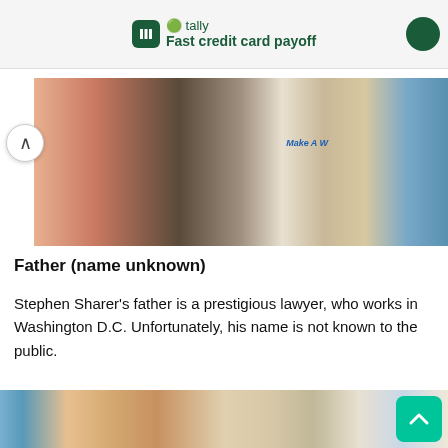[Figure (screenshot): Tally app advertisement banner with green logo and tagline 'Fast credit card payoff']
[Figure (photo): Group of young people sitting together outdoors, one wearing a 'Make A Wish' shirt, with a dog]
Father (name unknown)
Stephen Sharer's father is a prestigious lawyer, who works in Washington D.C. Unfortunately, his name is not known to the public.
[Figure (photo): Outdoor photo of an older man in a blue cap, a woman, and Stephen Sharer smiling in front of a white house]